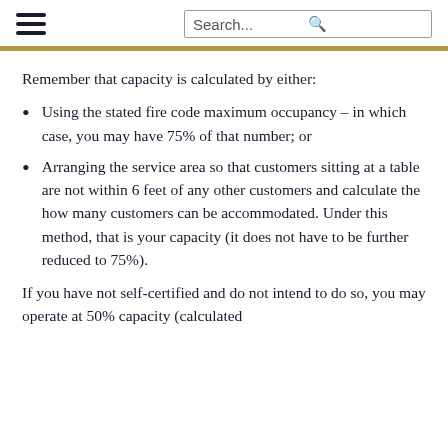Search...
Remember that capacity is calculated by either:
Using the stated fire code maximum occupancy – in which case, you may have 75% of that number; or
Arranging the service area so that customers sitting at a table are not within 6 feet of any other customers and calculate the how many customers can be accommodated. Under this method, that is your capacity (it does not have to be further reduced to 75%).
If you have not self-certified and do not intend to do so, you may operate at 50% capacity (calculated